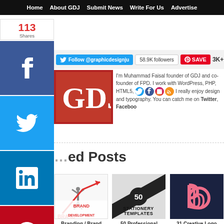Home | About GDJ | Submit News | Write For Us | Advertise
[Figure (screenshot): Social share sidebar with Facebook, Twitter, LinkedIn, Pinterest buttons and share count of 113]
[Figure (screenshot): Twitter follow button for @graphicdesignju with 58.9K followers count, Pinterest SAVE button with 3K+]
[Figure (logo): GDJ logo - red square with GDJ text]
I'm Muhammad Faisal founder of GDJ and co-founder of FPD. I work with WordPress, PHP, HTML5, CSS. I really enjoy design and typography. You can catch me on Twitter, Facebook
[Figure (screenshot): Social media icons row: Twitter, Facebook, Instagram, RSS]
Related Posts
[Figure (photo): Brand Development thumbnail - person with arms raised with red arrow going up, text saying BRAND DEVELOPMENT]
Branding / Brand
[Figure (photo): 50 Stationery Templates thumbnail - black and white diagonal design with number 50 in circle]
50 Professional
[Figure (logo): 31 Creative Logo thumbnail - dark blue background with pink/coral letter b logo]
31 Creative Logo